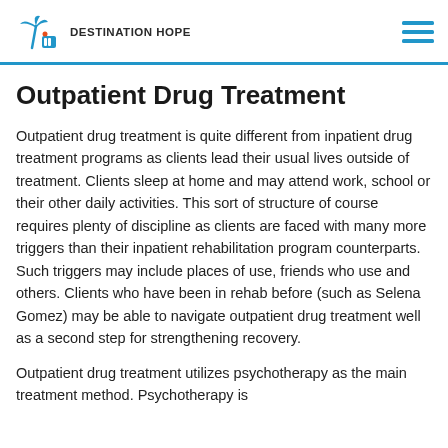DESTINATION HOPE
Outpatient Drug Treatment
Outpatient drug treatment is quite different from inpatient drug treatment programs as clients lead their usual lives outside of treatment. Clients sleep at home and may attend work, school or their other daily activities. This sort of structure of course requires plenty of discipline as clients are faced with many more triggers than their inpatient rehabilitation program counterparts. Such triggers may include places of use, friends who use and others. Clients who have been in rehab before (such as Selena Gomez) may be able to navigate outpatient drug treatment well as a second step for strengthening recovery.
Outpatient drug treatment utilizes psychotherapy as the main treatment method. Psychotherapy is